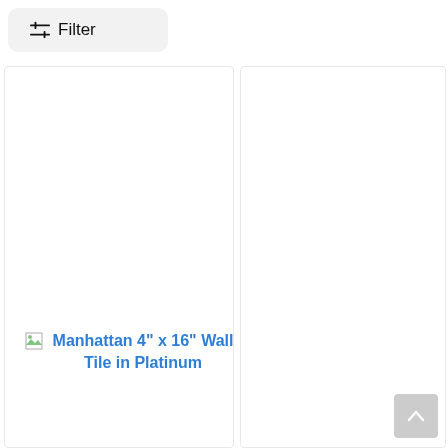Filter
[Figure (screenshot): Left product card placeholder with broken image icon and product title 'Manhattan 4" x 16" Wall Tile in Platinum' in blue link text]
[Figure (screenshot): Right product card placeholder, blank white]
[Figure (illustration): Back to top button arrow in grey square at bottom right]